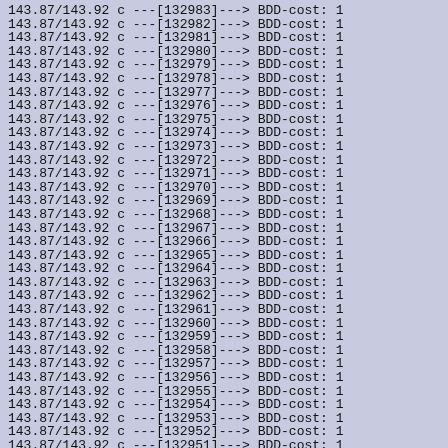143.87/143.92  c ---[132983]---> BDD-cost:  1
143.87/143.92  c ---[132982]---> BDD-cost:  1
143.87/143.92  c ---[132981]---> BDD-cost:  1
143.87/143.92  c ---[132980]---> BDD-cost:  1
143.87/143.92  c ---[132979]---> BDD-cost:  1
143.87/143.92  c ---[132978]---> BDD-cost:  1
143.87/143.92  c ---[132977]---> BDD-cost:  1
143.87/143.92  c ---[132976]---> BDD-cost:  1
143.87/143.92  c ---[132975]---> BDD-cost:  1
143.87/143.92  c ---[132974]---> BDD-cost:  1
143.87/143.92  c ---[132973]---> BDD-cost:  1
143.87/143.92  c ---[132972]---> BDD-cost:  1
143.87/143.92  c ---[132971]---> BDD-cost:  1
143.87/143.92  c ---[132970]---> BDD-cost:  1
143.87/143.92  c ---[132969]---> BDD-cost:  1
143.87/143.92  c ---[132968]---> BDD-cost:  1
143.87/143.92  c ---[132967]---> BDD-cost:  1
143.87/143.92  c ---[132966]---> BDD-cost:  1
143.87/143.92  c ---[132965]---> BDD-cost:  1
143.87/143.92  c ---[132964]---> BDD-cost:  1
143.87/143.92  c ---[132963]---> BDD-cost:  1
143.87/143.92  c ---[132962]---> BDD-cost:  1
143.87/143.92  c ---[132961]---> BDD-cost:  1
143.87/143.92  c ---[132960]---> BDD-cost:  1
143.87/143.92  c ---[132959]---> BDD-cost:  1
143.87/143.92  c ---[132958]---> BDD-cost:  1
143.87/143.92  c ---[132957]---> BDD-cost:  1
143.87/143.92  c ---[132956]---> BDD-cost:  1
143.87/143.92  c ---[132955]---> BDD-cost:  1
143.87/143.92  c ---[132954]---> BDD-cost:  1
143.87/143.92  c ---[132953]---> BDD-cost:  1
143.87/143.92  c ---[132952]---> BDD-cost:  1
143.87/143.92  c ---[132951]---> BDD-cost:  1